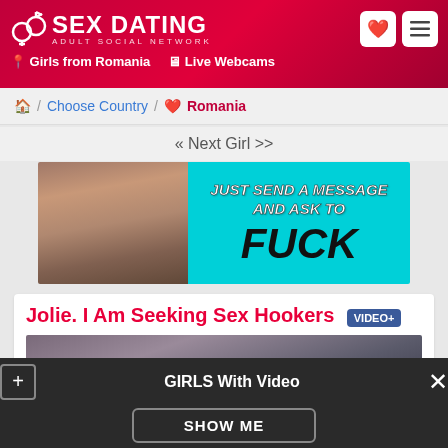SEX DATING ADULT SOCIAL NETWORK · Girls from Romania · Live Webcams
Home / Choose Country / Romania
« Next Girl >>
[Figure (advertisement): Ad banner with cyan background reading JUST SEND A MESSAGE AND ASK TO FUCK]
Jolie. I Am Seeking Sex Hookers VIDEO+
[Figure (photo): Partial view of a person]
GIRLS With Video SHOW ME